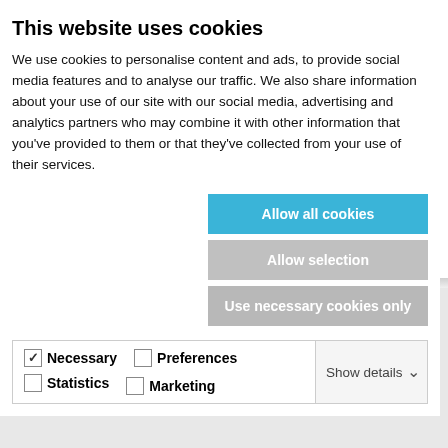This website uses cookies
We use cookies to personalise content and ads, to provide social media features and to analyse our traffic. We also share information about your use of our site with our social media, advertising and analytics partners who may combine it with other information that you've provided to them or that they've collected from your use of their services.
Allow all cookies
Allow selection
Use necessary cookies only
| Necessary | Preferences | Statistics | Marketing | Show details |
| --- | --- | --- | --- | --- |